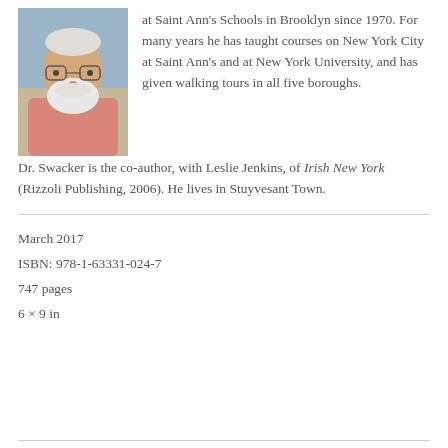[Figure (photo): Black and white / color photo of an elderly man with white beard and glasses wearing a pink shirt, outdoors near water]
at Saint Ann's Schools in Brooklyn since 1970. For many years he has taught courses on New York City at Saint Ann's and at New York University, and has given walking tours in all five boroughs. Dr. Swacker is the co-author, with Leslie Jenkins, of Irish New York (Rizzoli Publishing, 2006). He lives in Stuyvesant Town.
March 2017
ISBN: 978-1-63331-024-7
747 pages
6 × 9 in